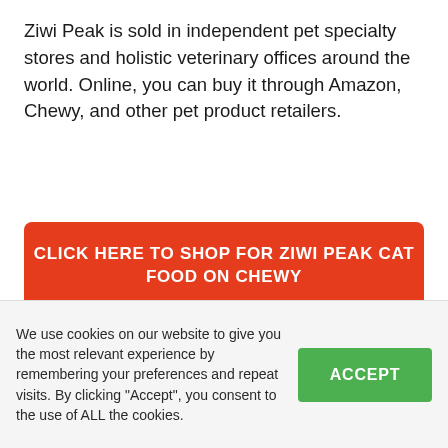Ziwi Peak is sold in independent pet specialty stores and holistic veterinary offices around the world. Online, you can buy it through Amazon, Chewy, and other pet product retailers.
CLICK HERE TO SHOP FOR ZIWI PEAK CAT FOOD ON CHEWY
[Figure (photo): Author photo showing a woman with a cat, partially visible in a bordered box]
We use cookies on our website to give you the most relevant experience by remembering your preferences and repeat visits. By clicking "Accept", you consent to the use of ALL the cookies.
ACCEPT